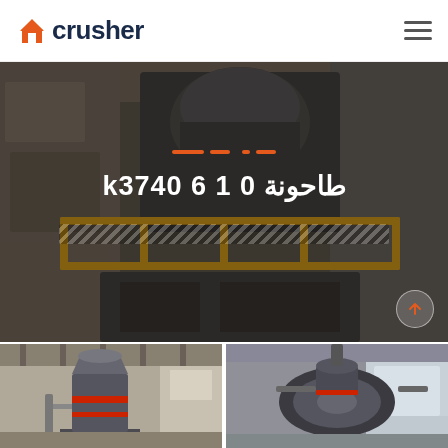crusher
[Figure (photo): Industrial crusher/mill machinery inside a large dusty factory facility with yellow safety barrier railings and overhead industrial equipment]
طاحونة k3740 6 1 0
[Figure (photo): Vertical industrial grinding mill machine (roller mill) inside a warehouse facility]
[Figure (photo): Top view of industrial machinery/mill equipment inside a factory]